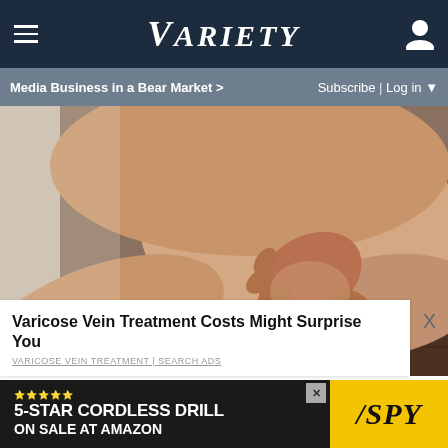VARIETY — Media Business in a Bear Market >  Subscribe | Log in
[Figure (photo): Close-up photo of a person's legs and hand, one hand squeezing the knee/thigh area, sitting on a wooden floor]
Varicose Vein Treatment Costs Might Surprise You
VARICOSE VEIN TREATMENT | SEARCH ADS
[Figure (screenshot): Advertisement banner: 5-STAR CORDLESS DRILL ON SALE AT AMAZON with SPY logo on yellow background]